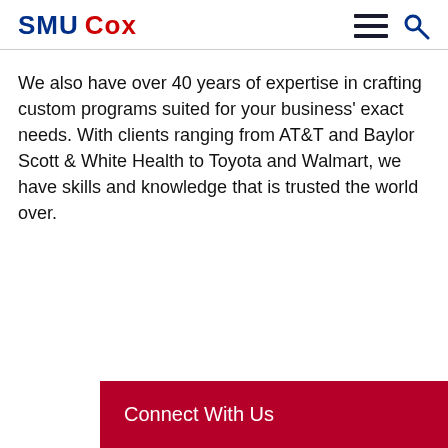SMU Cox
We also have over 40 years of expertise in crafting custom programs suited for your business' exact needs. With clients ranging from AT&T and Baylor Scott & White Health to Toyota and Walmart, we have skills and knowledge that is trusted the world over.
Connect With Us